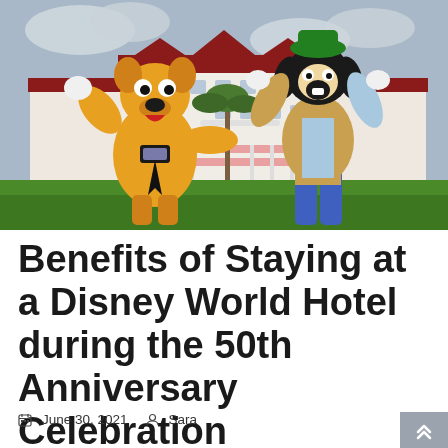[Figure (photo): Pluto and Goofy Disney character mascots posing with arms raised on a green lawn in front of the Grand Floridian Resort at Walt Disney World.]
Benefits of Staying at a Disney World Hotel during the 50th Anniversary Celebration
June 30, 2021  Sara